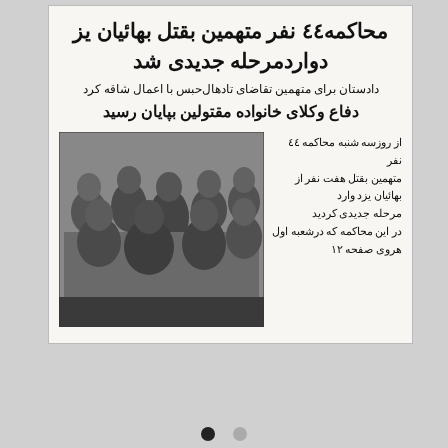محاکمه ٤٤ نفر متهمین بقتل بهائیان یزد وارد مرحله جدیدی شد
دادستان برای متهمین تقاضای تادهال حبس با اعمال شاقه کرد
دفاع وکلای خانواده مقتولین بپایان رسید
[Figure (photo): Black and white photograph of a group of men seated and standing, appearing to be in a courtroom or similar setting. The image is grainy and historical in nature.]
از روزسه شنبه محاکمه ٤٤ نفر متهمین بقتل هفت نفر از بهائیان یزد وارد مرحله جدیدی کردید
در این محاکمه که درشعبه اول هروی صفحه ١٢